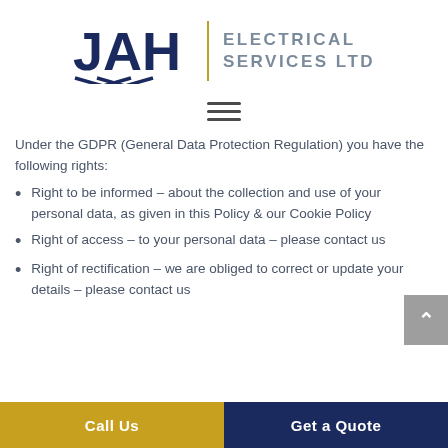[Figure (logo): JAH Electrical Services Ltd logo with navy blue JAH letters, gold vertical divider, and grey text ELECTRICAL SERVICES LTD]
[Figure (other): Hamburger menu icon with three horizontal bars]
Under the GDPR (General Data Protection Regulation) you have the following rights:
Right to be informed – about the collection and use of your personal data, as given in this Policy & our Cookie Policy
Right of access – to your personal data – please contact us
Right of rectification – we are obliged to correct or update your details – please contact us
Call Us    Get a Quote